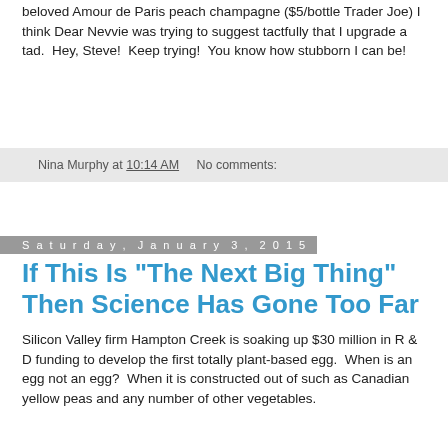beloved Amour de Paris peach champagne ($5/bottle Trader Joe) I think Dear Nevvie was trying to suggest tactfully that I upgrade a tad.  Hey, Steve!  Keep trying!  You know how stubborn I can be!
Nina Murphy at 10:14 AM    No comments:
Saturday, January 3, 2015
If This Is "The Next Big Thing" Then Science Has Gone Too Far
Silicon Valley firm Hampton Creek is soaking up $30 million in R & D funding to develop the first totally plant-based egg.  When is an egg not an egg?  When it is constructed out of such as Canadian yellow peas and any number of other vegetables.
Company founder Josh Ettrick - notice his first name?  Yes, well...  I think he is joshing because he wants to duplicate all of the qualities of an egg from plants.
It is believed that "Just Scramble" won't be available for a number